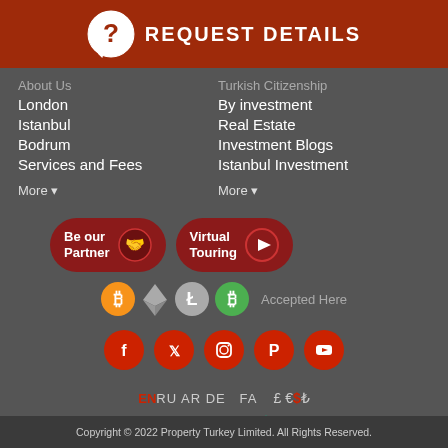REQUEST DETAILS
About Us
London
Istanbul
Bodrum
Services and Fees
More
Turkish Citizenship
By investment
Real Estate
Investment Blogs
Istanbul Investment
More
[Figure (logo): Be our Partner button with handshake icon]
[Figure (logo): Virtual Touring button with play icon]
[Figure (logo): Cryptocurrency icons: Bitcoin, Ethereum, Litecoin, Bitcoin Cash - Accepted Here]
[Figure (logo): Social media icons: Facebook, Twitter, Instagram, Pinterest, YouTube]
EN RU AR DE  FA   £ € $ ₺
See our 287 reviews on Trustpilot
Copyright © 2022 Property Turkey Limited. All Rights Reserved.